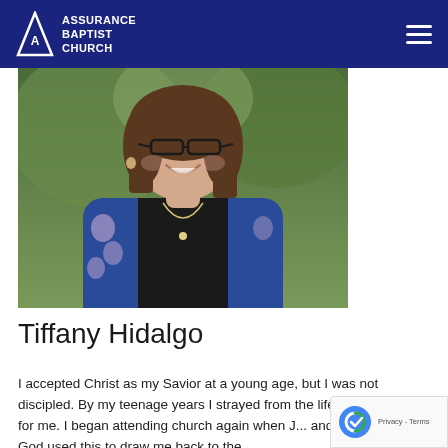ASSURANCE BAPTIST CHURCH
[Figure (photo): Portrait photo of Tiffany Hidalgo, a woman with brown hair, glasses, wearing a black top and blue floral cardigan with a long necklace, smiling in an outdoor setting with green trees in background]
Tiffany Hidalgo
I accepted Christ as my Savior at a young age, but I was not discipled. By my teenage years I strayed from the life God wanted for me. I began attending church again when J... and I started dating. God used this to draw me back to the...